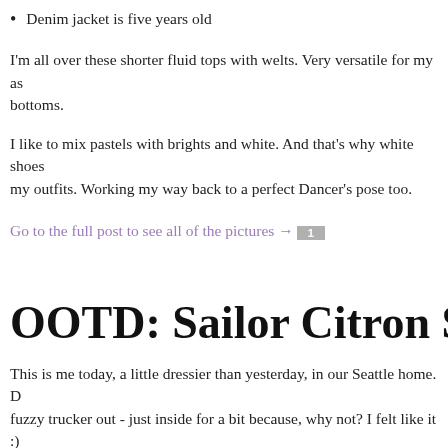Denim jacket is five years old
I'm all over these shorter fluid tops with welts. Very versatile for my as... bottoms.
I like to mix pastels with brights and white. And that's why white shoes... my outfits. Working my way back to a perfect Dancer's pose too.
Go to the full post to see all of the pictures →
OOTD: Sailor Citron Sky
This is me today, a little dressier than yesterday, in our Seattle home. D... fuzzy trucker out - just inside for a bit because, why not? I felt like it :)
First of all: AT-HOME-ONLY PRETTY SNEAKERS ARE THE BOM... and isolating style decision I've made. Game changer, so high five Bec... soooo much more supported, and my outfit feels complete. (These shoe...